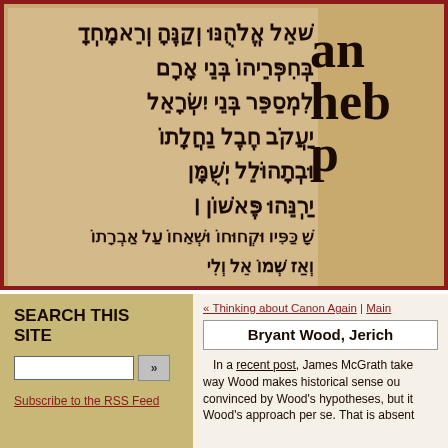[Figure (photo): Close-up photograph of an ancient Hebrew manuscript page showing handwritten Hebrew text in dark ink on aged parchment, with large bold Latin letters (anc, hebr, p) overlaid on the right side]
SEARCH THIS SITE
Subscribe to the RSS Feed
« Thinking about Canon Again | Main
Bryant Wood, Jerich
In a recent post, James McGrath takes way Wood makes historical sense ou convinced by Wood's hypotheses, but it Wood's approach per se. That is absent